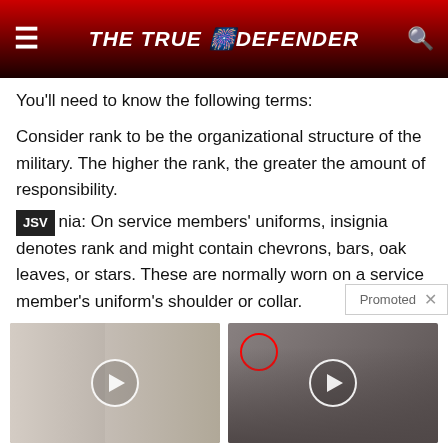THE TRUE DEFENDER
You’ll need to know the following terms:
Consider rank to be the organizational structure of the military. The higher the rank, the greater the amount of responsibility. [JSV] nia: On service members’ uniforms, insignia denotes rank and might contain chevrons, bars, oak leaves, or stars. These are normally worn on a service member’s uniform’s shoulder or collar.
[Figure (photo): Thumbnail image of two people, woman with dark hair and man with white hair in suit, with video play button overlay. Caption: Top Democrats Fear This Video Getting Out — Watch Now Before It’s Banned. Count: 317,175]
[Figure (photo): Thumbnail image of group of men in suits standing in formal setting with red circle overlay and video play button. Caption: Biden Probably Wants This Video Destroyed — Massive Currency Upheaval Has Started. Count: 307,584]